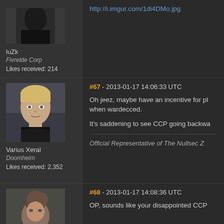[Figure (screenshot): Forum thread screenshot showing game character posts with avatars, usernames, and discussion about wardecs in EVE Online]
http://i.imgur.com/1di4DMo.jpg
luZk
Fivrelde Corp
Likes received: 214
#67 - 2013-01-17 14:06:33 UTC
Oh jeez, maybe have an incentive for pl when wardecced.
It's saddening to see CCP going backwa
Official Representative of The Nullsec Z
Varius Xeral
Doomheim
Likes received: 2,352
#68 - 2013-01-17 14:08:36 UTC
OP, sounds like your disappointed CCP